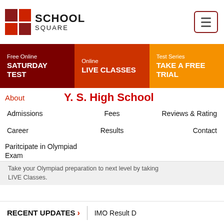[Figure (logo): School Square logo with red grid squares and text SCHOOL SQUARE]
Free Online
SATURDAY TEST
Online
LIVE CLASSES
Test Series
TAKE A FREE TRIAL
About
Y. S. High School
Admissions
Fees
Reviews & Rating
Career
Results
Contact
Paritcipate in Olympiad Exam
Take your Olympiad preparation to next level by taking LIVE Classes.
RECENT UPDATES > | IMO Result D